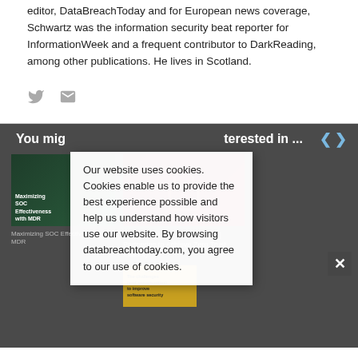editor, DataBreachToday and for European news coverage, Schwartz was the information security beat reporter for InformationWeek and a frequent contributor to DarkReading, among other publications. He lives in Scotland.
[Figure (other): Twitter and email social media icons]
You might be interested in ...
[Figure (other): Cookie consent overlay reading: Our website uses cookies. Cookies enable us to provide the best experience possible and help us understand how visitors use our website. By browsing databreachtoday.com, you agree to our use of cookies.]
[Figure (other): Card: Maximizing SOC Effectiveness with MDR – dark green image with text overlay]
[Figure (other): Card: OnDemand Panel Discussion | Partnering to Achieve Zero Trust Maturity – dark red image with padlock icon]
[Figure (other): Card image: The challenges (and opportunities) to improve software security – gold/yellow background]